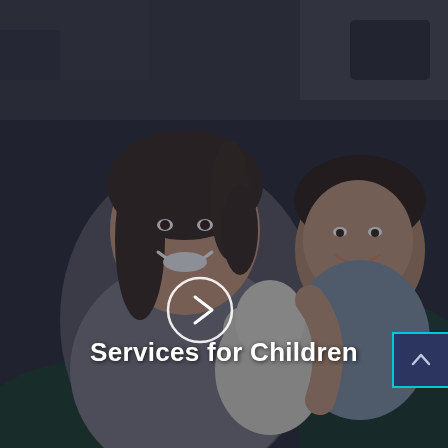[Figure (photo): A smiling woman and a young child hugging, with the child holding a white stuffed animal. The image has a dark overlay. In the center is a circular play button icon. A scroll-up button appears in the bottom right corner with a teal/cyan border.]
Services for Children